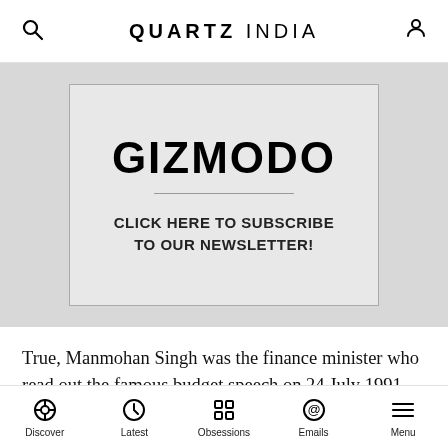QUARTZ INDIA
[Figure (other): Gizmodo newsletter subscription advertisement banner with bold GIZMODO logo and text 'CLICK HERE TO SUBSCRIBE TO OUR NEWSLETTER!']
True, Manmohan Singh was the finance minister who read out the famous budget speech on 24 July 1991—one that contained several important policy initiatives and defined a new framework for India's macroeconomic policy. He became the face of the new turn in India's economic policies and played a key role as the voice of reform and liberalisation even in areas for which he was
Discover  Latest  Obsessions  Emails  Menu